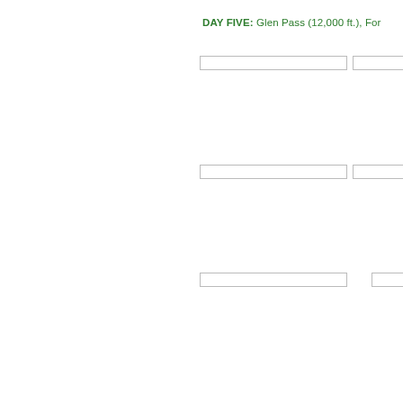DAY FIVE:  Glen Pass (12,000 ft.), For...